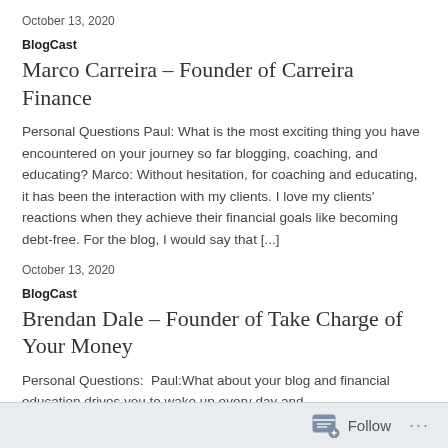October 13, 2020
BlogCast
Marco Carreira – Founder of Carreira Finance
Personal Questions Paul: What is the most exciting thing you have encountered on your journey so far blogging, coaching, and educating? Marco: Without hesitation, for coaching and educating, it has been the interaction with my clients. I love my clients' reactions when they achieve their financial goals like becoming debt-free. For the blog, I would say that [...]
October 13, 2020
BlogCast
Brendan Dale – Founder of Take Charge of Your Money
Personal Questions:  Paul:What about your blog and financial education drives you to wake up every day and